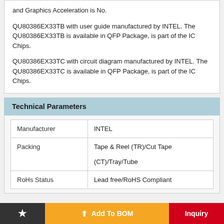and Graphics Acceleration is No.
QU80386EX33TB with user guide manufactured by INTEL. The QU80386EX33TB is available in QFP Package, is part of the IC Chips.
QU80386EX33TC with circuit diagram manufactured by INTEL. The QU80386EX33TC is available in QFP Package, is part of the IC Chips.
Technical Parameters
| Manufacturer | INTEL |
| --- | --- |
| Packing | Tape & Reel (TR)/Cut Tape
(CT)/Tray/Tube |
| RoHs Status | Lead free/RoHS Compliant |